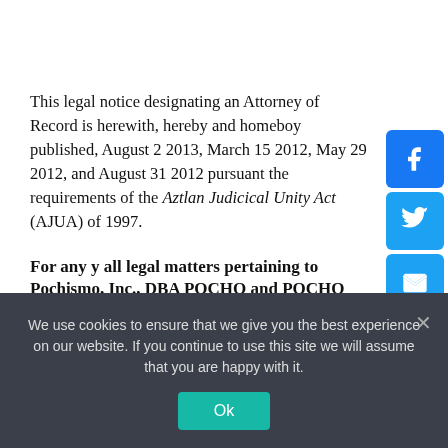This legal notice designating an Attorney of Record is herewith, hereby and homeboy published, August 2 2013, March 15 2012, May 29 2012, and August 31 2012 pursuant the requirements of the Aztlan Judicical Unity Act (AJUA) of 1997.
For any y all legal matters pertaining to Pochismo, Inc., DBA POCHO and POCHO DOT
We use cookies to ensure that we give you the best experience on our website. If you continue to use this site we will assume that you are happy with it.